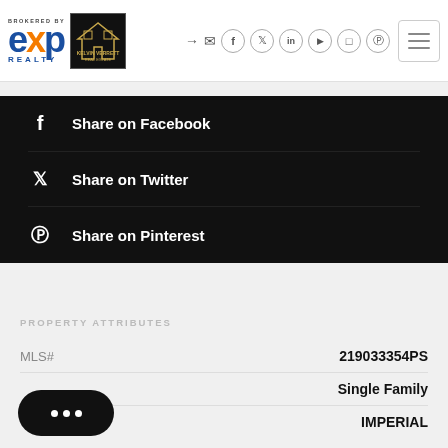[Figure (logo): eXp Realty brokered by logo and Kelvin Verrett Real Estate logo in header]
[Figure (infographic): Social media icons row: login, email, facebook, twitter, linkedin, youtube, instagram, pinterest]
Share on Facebook
Share on Twitter
Share on Pinterest
PROPERTY ATTRIBUTES
| Attribute | Value |
| --- | --- |
| MLS# | 219033354PS |
|  | Single Family |
| County | IMPERIAL |